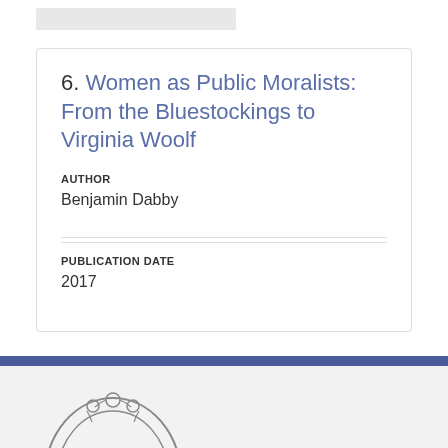6. Women as Public Moralists: From the Bluestockings to Virginia Woolf
AUTHOR
Benjamin Dabby
PUBLICATION DATE
2017
[Figure (logo): University of Wisconsin crest/seal logo with stylized W inside an ornate oval frame with decorative scrollwork at the top]